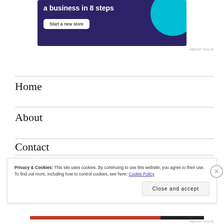[Figure (other): Advertisement banner with dark purple background showing 'a business in 8 steps' text and 'Start a new store' button, with cyan circle graphic on right]
REPORT THIS AD
Home
About
Contact
Privacy & Cookies: This site uses cookies. By continuing to use this website, you agree to their use.
To find out more, including how to control cookies, see here: Cookie Policy
Close and accept